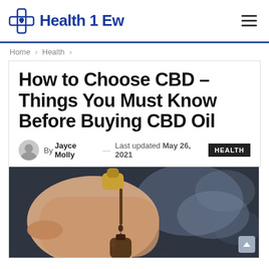Health 1 Ew
Home > Health >
How to Choose CBD – Things You Must Know Before Buying CBD Oil
By Jayce Molly — Last updated May 26, 2021  HEALTH
[Figure (photo): A hand holding a dropper bottle of CBD oil, extracting dark oil with a pipette, against a blurred dark background]